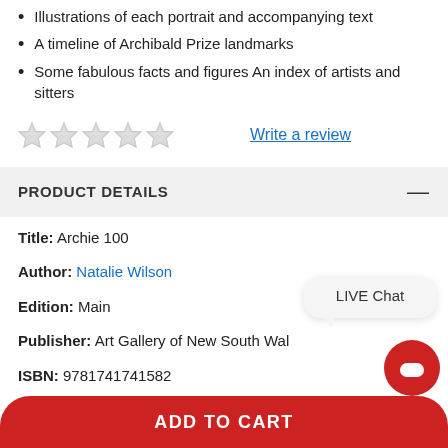Illustrations of each portrait and accompanying text
A timeline of Archibald Prize landmarks
Some fabulous facts and figures An index of artists and sitters
★★★★★  Write a review
PRODUCT DETAILS
Title: Archie 100
Author: Natalie Wilson
Edition: Main
Publisher: Art Gallery of New South Wales
ISBN: 9781741741582